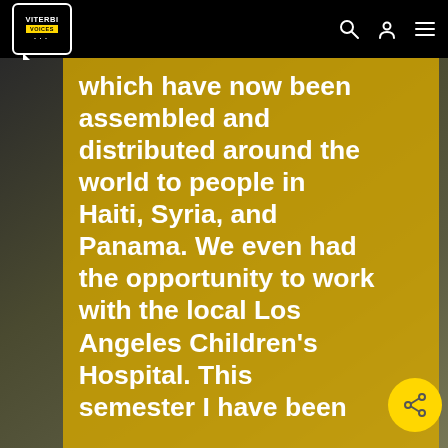Viterbi Voices
[Figure (photo): Yellow-tinted overlay photo of a person working, with large white bold text reading: which have now been assembled and distributed around the world to people in Haiti, Syria, and Panama. We even had the opportunity to work with the local Los Angeles Children's Hospital. This semester I have been]
which have now been assembled and distributed around the world to people in Haiti, Syria, and Panama. We even had the opportunity to work with the local Los Angeles Children's Hospital. This semester I have been